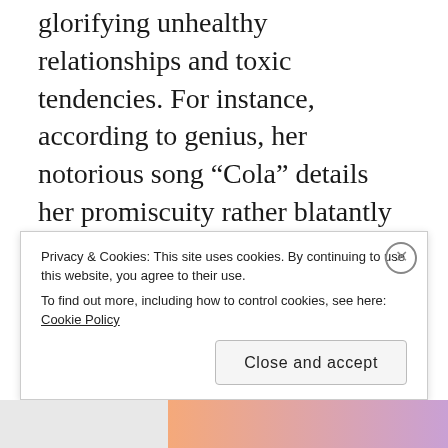glorifying unhealthy relationships and toxic tendencies. For instance, according to genius, her notorious song “Cola” details her promiscuity rather blatantly but was later heavily probed for its mention and exaggeration of a “Harvey Weinstein” like character.
Regardless, Lana believes that her music has “really paved the way for other women to stop [getting embarrassed about their bodies]...
Privacy & Cookies: This site uses cookies. By continuing to use this website, you agree to their use.
To find out more, including how to control cookies, see here: Cookie Policy
[Close and accept]